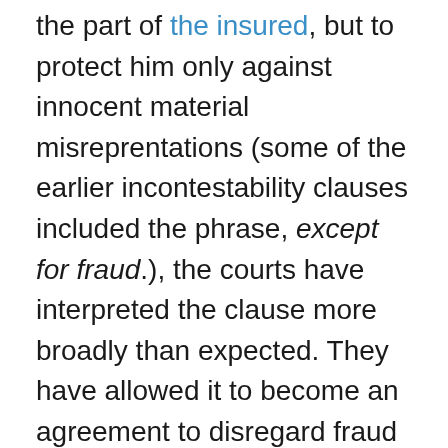the part of the insured, but to protect him only against innocent material misreprentations (some of the earlier incontestability clauses included the phrase, except for fraud.), the courts have interpreted the clause more broadly than expected. They have allowed it to become an agreement to disregard fraud in the life insurance contract after a specified period. The clause has been in use since the 1860's, is required by many states, and has been held to apply in the most flagrant cases of fraud. Although there is social and economic justification for incontestability in life insurance, there is no generally accepted legal explanation for the incontestability provision or